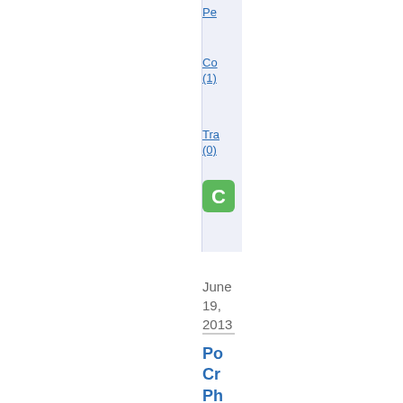Pe...
Co... (1)
Tra... (0)
[Figure (logo): Green icon resembling a stylized letter C or phone/chat symbol]
June 19, 2013
Po Cr Ph...